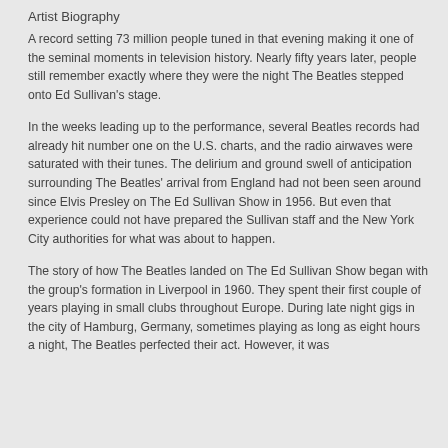Artist Biography
A record setting 73 million people tuned in that evening making it one of the seminal moments in television history. Nearly fifty years later, people still remember exactly where they were the night The Beatles stepped onto Ed Sullivan's stage.
In the weeks leading up to the performance, several Beatles records had already hit number one on the U.S. charts, and the radio airwaves were saturated with their tunes. The delirium and ground swell of anticipation surrounding The Beatles' arrival from England had not been seen around since Elvis Presley on The Ed Sullivan Show in 1956. But even that experience could not have prepared the Sullivan staff and the New York City authorities for what was about to happen.
The story of how The Beatles landed on The Ed Sullivan Show began with the group's formation in Liverpool in 1960. They spent their first couple of years playing in small clubs throughout Europe. During late night gigs in the city of Hamburg, Germany, sometimes playing as long as eight hours a night, The Beatles perfected their act. However, it was